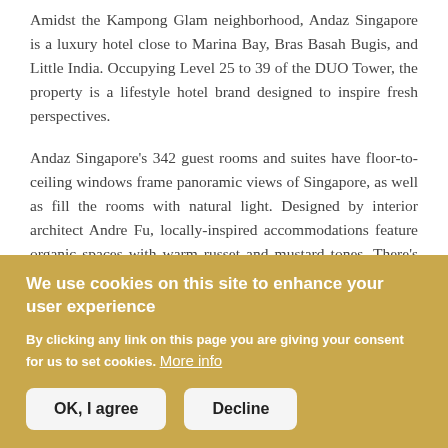Amidst the Kampong Glam neighborhood, Andaz Singapore is a luxury hotel close to Marina Bay, Bras Basah Bugis, and Little India. Occupying Level 25 to 39 of the DUO Tower, the property is a lifestyle hotel brand designed to inspire fresh perspectives.
Andaz Singapore's 342 guest rooms and suites have floor-to-ceiling windows frame panoramic views of Singapore, as well as fill the rooms with natural light. Designed by interior architect Andre Fu, locally-inspired accommodations feature organic spaces with warm russet and mustard tones. There's also flat-screen TVs, minibars with snacks and non-alcoholic drinks, as well as
We use cookies on this site to enhance your user experience
By clicking any link on this page you are giving your consent for us to set cookies. More info
OK, I agree
Decline